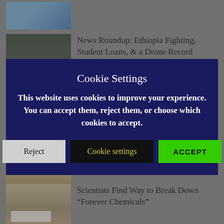[Figure (screenshot): Partially visible news article thumbnail showing a map (blue/geographic)]
[Figure (screenshot): News article thumbnail showing a landscape/sunset scene with infrastructure]
News Roundup: Ethiopia Fighting, Student Loans, & a Drone Record
[Figure (screenshot): Cookie settings modal overlay with title, body text, and three buttons: Reject, Cookie settings, ACCEPT]
[Figure (screenshot): Partially visible thumbnail of sandy/earthy ground]
[Figure (screenshot): Thumbnail showing white foam/chemical substance on earthy ground]
Scientists Find Way to Break Down “Forever Chemicals”